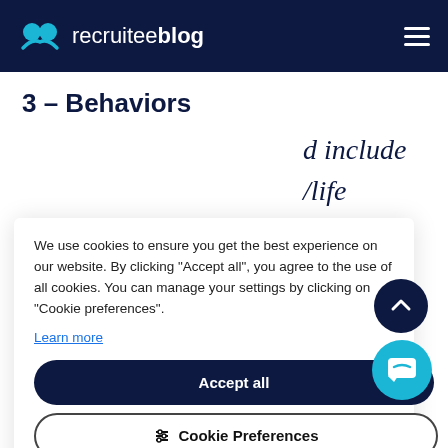recruiteeblog
3 – Behaviors
d include /life balance ills.
We use cookies to ensure you get the best experience on our website. By clicking "Accept all", you agree to the use of all cookies. You can manage your settings by clicking on "Cookie preferences".
Learn more
Accept all
Cookie Preferences
Reject optional cookies
to e before they recruitr
down th